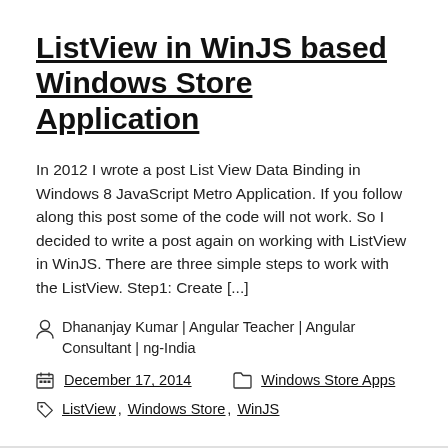ListView in WinJS based Windows Store Application
In 2012 I wrote a post List View Data Binding in Windows 8 JavaScript Metro Application. If you follow along this post some of the code will not work. So I decided to write a post again on working with ListView in WinJS. There are three simple steps to work with the ListView. Step1: Create [...]
Dhananjay Kumar | Angular Teacher | Angular Consultant | ng-India
December 17, 2014   Windows Store Apps
ListView, Windows Store, WinJS